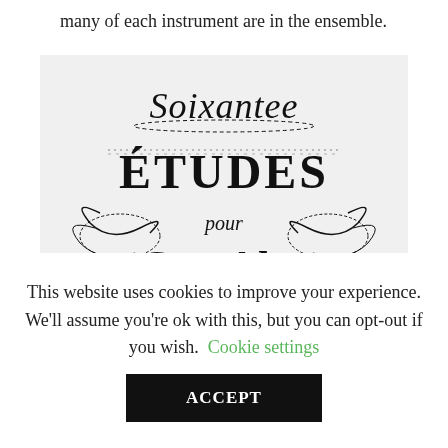many of each instrument are in the ensemble.
[Figure (illustration): Vintage sheet music title page illustration reading 'Soixantee ÉTUDES pour Cor-Alto (premier Cor) composées' with ornate decorative calligraphic lettering and scrollwork designs in black ink on white background]
This website uses cookies to improve your experience. We'll assume you're ok with this, but you can opt-out if you wish.  Cookie settings
ACCEPT